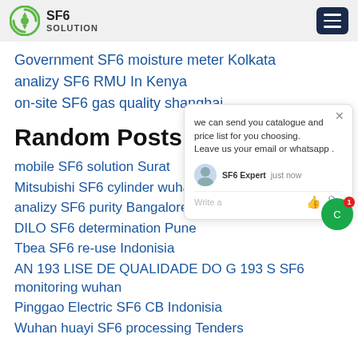SF6 SOLUTION
Government SF6 moisture meter Kolkata
analizy SF6 RMU In Kenya
on-site SF6 gas quality shanghai
Random Posts:
mobile SF6 solution Surat
Mitsubishi SF6 cylinder wuhan
analizy SF6 purity Bangalore
DILO SF6 determination Pune
Tbea SF6 re-use Indonisia
AN 193 LISE DE QUALIDADE DO G 193 S SF6 monitoring wuhan
Pinggao Electric SF6 CB Indonisia
Wuhan huayi SF6 processing Tenders
we can send you catalogue and price list for you choosing. Leave us your email or whatsapp .